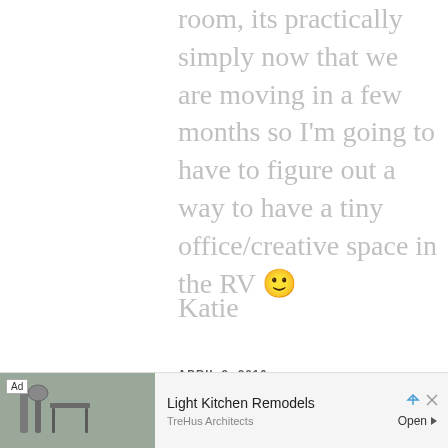room, its practically simply now that we are moving in a few months so I'm going to have to figure out a way to have a tiny office/creative space in the RV 🙂
Katie
APRIL 9, 2016
Sorry, the comment form is closed at this time.
[Figure (other): Advertisement banner: Light Kitchen Remodels by TreHus Architects with a photo of kitchen fixtures]